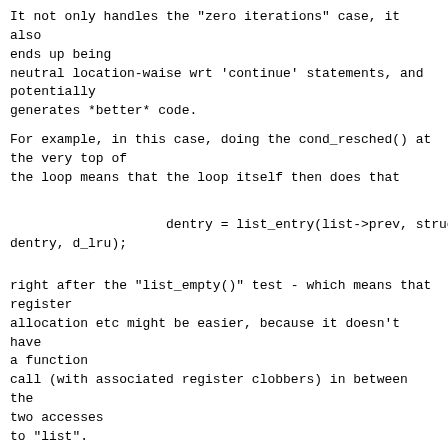It not only handles the "zero iterations" case, it also ends up being neutral location-waise wrt 'continue' statements, and potentially generates *better* code.
For example, in this case, doing the cond_resched() at the very top of the loop means that the loop itself then does that
dentry = list_entry(list->prev, struct dentry, d_lru);
right after the "list_empty()" test - which means that register allocation etc might be easier, because it doesn't have a function call (with associated register clobbers) in between the two accesses to "list".
And I think that might be a fairly common pattern - the loop conditional uses the same values as the loop itself then uses.
I don't know. Maybe I'm just making excuses for the somewhat unusual syntax.
Anybody want to test this out?